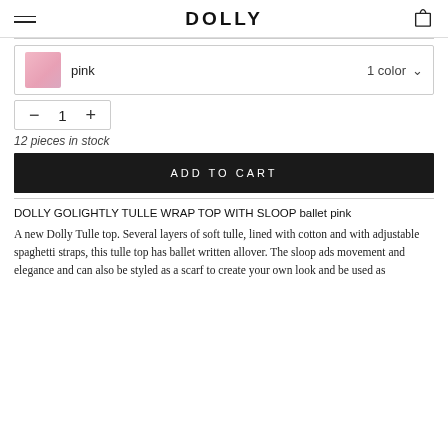DOLLY
pink  1 color
— 1 +
12 pieces in stock
ADD TO CART
DOLLY GOLIGHTLY TULLE WRAP TOP WITH SLOOP ballet pink
A new Dolly Tulle top. Several layers of soft tulle, lined with cotton and with adjustable spaghetti straps, this tulle top has ballet written allover. The sloop ads movement and elegance and can also be styled as a scarf to create your own look and be used as